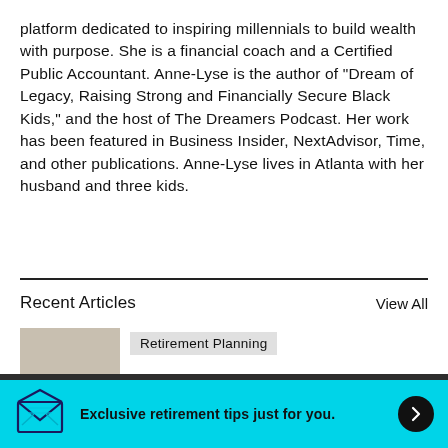platform dedicated to inspiring millennials to build wealth with purpose. She is a financial coach and a Certified Public Accountant. Anne-Lyse is the author of "Dream of Legacy, Raising Strong and Financially Secure Black Kids," and the host of The Dreamers Podcast. Her work has been featured in Business Insider, NextAdvisor, Time, and other publications. Anne-Lyse lives in Atlanta with her husband and three kids.
Recent Articles
View All
[Figure (photo): Thumbnail image for article about Retirement Planning]
Retirement Planning
To learn what personal information Personal Capital collects, please see our privacy policy for details.
Exclusive retirement tips just for you.